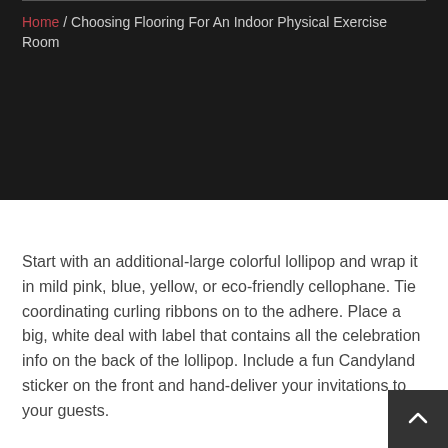Home / Choosing Flooring For An Indoor Physical Exercise Room
[Figure (other): Dark banner/hero image area with black background]
Start with an additional-large colorful lollipop and wrap it in mild pink, blue, yellow, or eco-friendly cellophane. Tie coordinating curling ribbons on to the adhere. Place a big, white deal with label that contains all the celebration info on the back of the lollipop. Include a fun Candyland sticker on the front and hand-deliver your invitations to your guests.
Start your working day off by letting your physique know that its Ok to stoke the furnace and burn calories ARS Shades